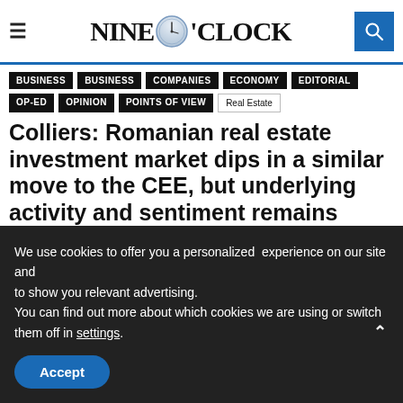Nine O'Clock — newspaper header with logo and navigation icons
BUSINESS
BUSINESS
COMPANIES
ECONOMY
EDITORIAL
OP-ED
OPINION
POINTS OF VIEW
Real Estate
Colliers: Romanian real estate investment market dips in a similar move to the CEE, but underlying activity and sentiment remains strong
August 31, 2021  121
We use cookies to offer you a personalized  experience on our site and to show you relevant advertising. You can find out more about which cookies we are using or switch them off in settings.